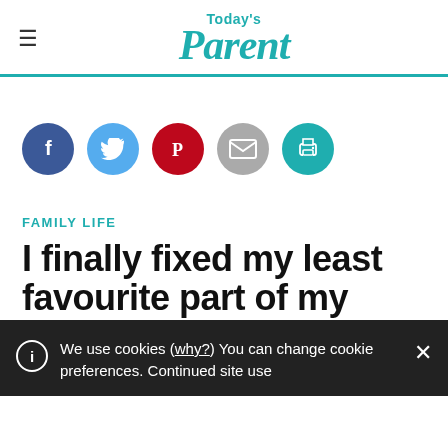Today's Parent
[Figure (infographic): Social sharing icons: Facebook (dark blue), Twitter (light blue), Pinterest (red), Email (grey), Print (teal)]
FAMILY LIFE
I finally fixed my least favourite part of my body –and my kids were horrified
We use cookies (why?) You can change cookie preferences. Continued site use